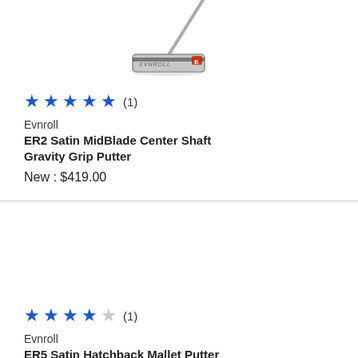[Figure (photo): Evnroll golf putter product image - ER2 Satin MidBlade Center Shaft Gravity Grip Putter, silver/chrome finish with red logo, viewed from above at an angle]
★★★★★ (1)
Evnroll
ER2 Satin MidBlade Center Shaft Gravity Grip Putter
New : $419.00
[Figure (photo): Evnroll golf putter product image - ER5 Satin Hatchback Mallet Putter (second product listing, image area appears blank/white)]
★★★★☆ (1)
Evnroll
ER5 Satin Hatchback Mallet Putter